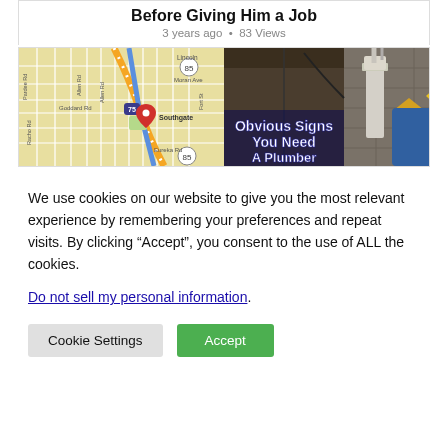Before Giving Him a Job
3 years ago • 83 Views
[Figure (map): Google Maps view of Southgate area showing streets including Goddard Rd, Moran Ave, Eureka Rd, with a red location pin near Southgate and route 85.]
[Figure (photo): Photo of plumbing equipment in a basement with text overlay reading 'Obvious Signs You Need A Plumber']
We use cookies on our website to give you the most relevant experience by remembering your preferences and repeat visits. By clicking “Accept”, you consent to the use of ALL the cookies.
Do not sell my personal information.